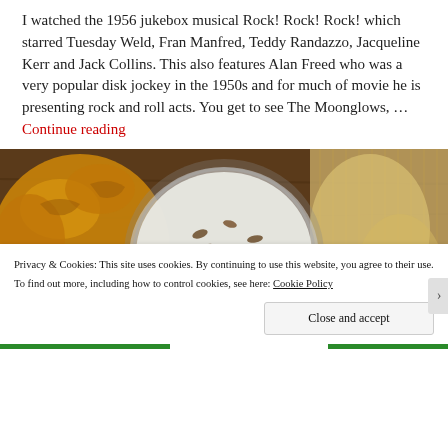I watched the 1956 jukebox musical Rock! Rock! Rock! which starred Tuesday Weld, Fran Manfred, Teddy Randazzo, Jacqueline Kerr and Jack Collins. This also features Alan Freed who was a very popular disk jockey in the 1950s and for much of movie he is presenting rock and roll acts. You get to see The Moonglows, … Continue reading
[Figure (photo): A bowl of creamy dip topped with chopped nuts, surrounded by various chips and crackers on a wooden surface.]
Privacy & Cookies: This site uses cookies. By continuing to use this website, you agree to their use. To find out more, including how to control cookies, see here: Cookie Policy